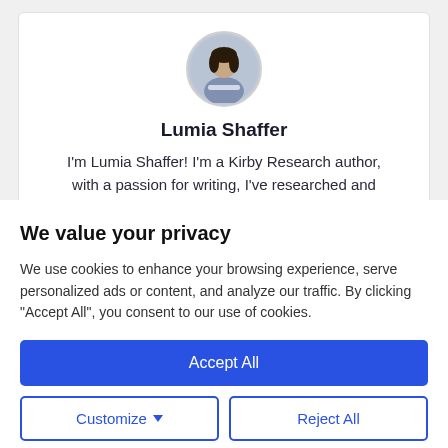[Figure (photo): Circular avatar photo of Lumia Shaffer, a woman sitting with a laptop]
Lumia Shaffer
I'm Lumia Shaffer! I'm a Kirby Research author, with a passion for writing, I've researched and
We value your privacy
We use cookies to enhance your browsing experience, serve personalized ads or content, and analyze our traffic. By clicking "Accept All", you consent to our use of cookies.
Accept All
Customize
Reject All